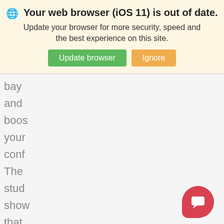[Figure (screenshot): Browser update banner with globe icon, bold title 'Your web browser (iOS 11) is out of date.', subtitle text, and two buttons: 'Update browser' (green) and 'Ignore' (orange/tan)]
bay
and
boos
your
conf
The
stud
show
that
mus
"sign
impr
self
[Figure (illustration): Red rounded chat bubble button in bottom right corner with a white speech bubble icon inside]